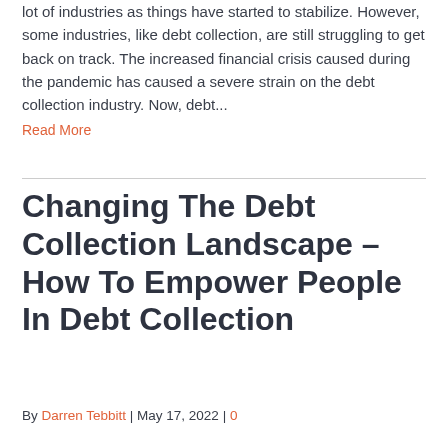lot of industries as things have started to stabilize. However, some industries, like debt collection, are still struggling to get back on track. The increased financial crisis caused during the pandemic has caused a severe strain on the debt collection industry. Now, debt...
Read More
Changing The Debt Collection Landscape – How To Empower People In Debt Collection
By Darren Tebbitt | May 17, 2022 | 0